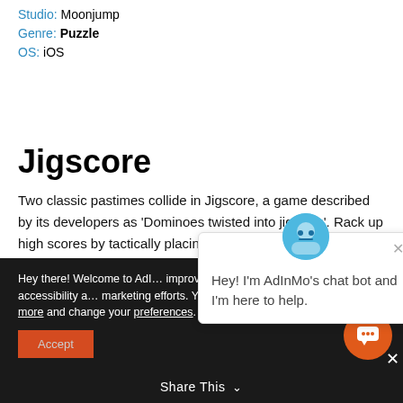Studio: Moonjump
Genre: Puzzle
OS: iOS
Jigscore
Two classic pastimes collide in Jigscore, a game described by its developers as 'Dominoes twisted into jigsaws'. Rack up high scores by tactically placing the pieces you're g…
Hey there! Welcome to AdInMo's... improve our website as we... as security & accessibility a... marketing efforts. You can find out more here. Find out more and change your preferences. at any time.
Accept
Hey! I'm AdInMo's chat bot and I'm here to help.
Share This